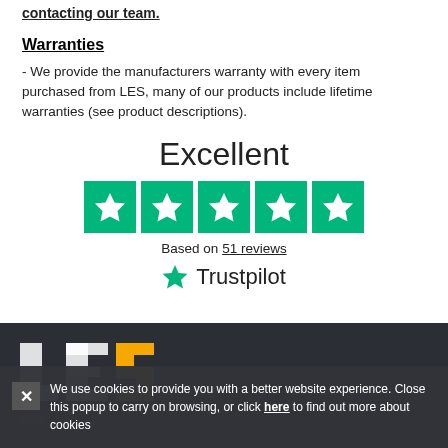contacting our team.
Warranties
- We provide the manufacturers warranty with every item purchased from LES, many of our products include lifetime warranties (see product descriptions).
[Figure (infographic): Trustpilot Excellent rating with 5 green star boxes and 'Based on 51 reviews' text, followed by Trustpilot logo]
[Figure (logo): LES USA LIFTING logo in dark footer]
We use cookies to provide you with a better website experience. Close this popup to carry on browsing, or click here to find out more about cookies